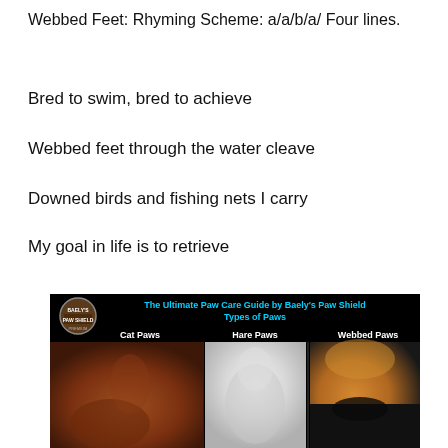Webbed Feet: Rhyming Scheme: a/a/b/a/ Four lines.
Bred to swim, bred to achieve
Webbed feet through the water cleave
Downed birds and fishing nets I carry
My goal in life is to retrieve
[Figure (photo): Infographic titled 'The Ultimate Paw Care Guide by Baely's Paw Shield - Types of Paws' showing three dog paw types: Cat Paws, Hare Paws, and Webbed Paws with photo examples.]